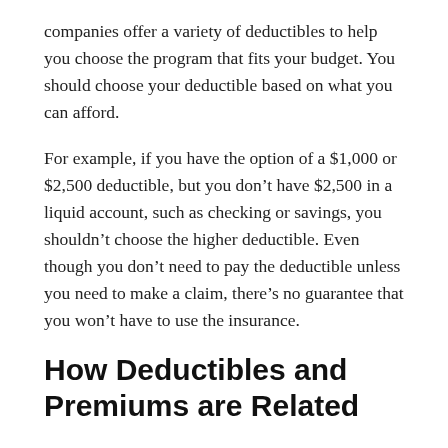companies offer a variety of deductibles to help you choose the program that fits your budget. You should choose your deductible based on what you can afford.
For example, if you have the option of a $1,000 or $2,500 deductible, but you don't have $2,500 in a liquid account, such as checking or savings, you shouldn't choose the higher deductible. Even though you don't need to pay the deductible unless you need to make a claim, there's no guarantee that you won't have to use the insurance.
How Deductibles and Premiums are Related